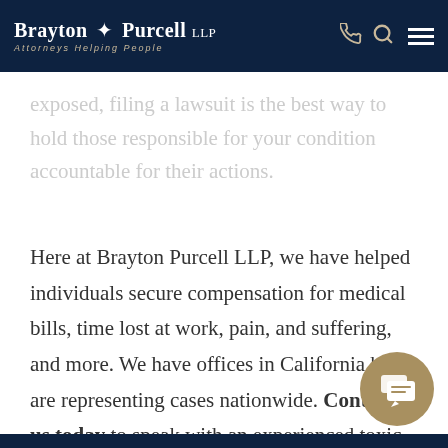Brayton Purcell LLP — Attorneys Helping People
exposed, filing a lawsuit is the best way to hold those responsible for your condition accountable for their actions.
Here at Brayton Purcell LLP, we have helped individuals secure compensation for medical bills, time lost at work, pain, and suffering, and more. We have offices in California but are representing cases nationwide. Contact us today to speak with an experienced toxic substances lawyer about your exposure and ill